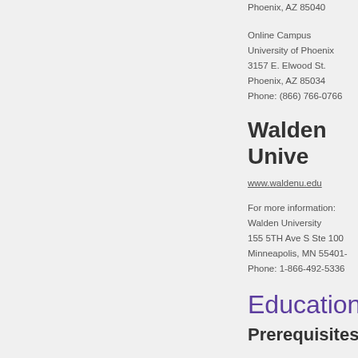Phoenix, AZ 85040
Online Campus
University of Phoenix
3157 E. Elwood St.
Phoenix, AZ 85034
Phone: (866) 766-0766
Walden Unive
www.waldenu.edu
For more information:
Walden University
155 5TH Ave S Ste 100
Minneapolis, MN 55401-
Phone: 1-866-492-5336
Education
Prerequisites